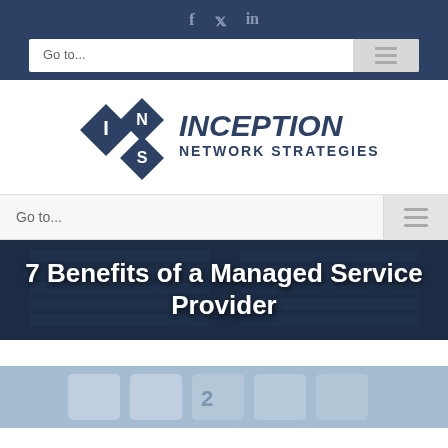f  𝕏  in
Go to...
[Figure (logo): Inception Network Strategies logo with diamond shapes containing letters I, N, S and bold company name text]
Go to...
7 Benefits of a Managed Service Provider
[Figure (photo): Close-up photo of keyboard keys in blue-grey tones]